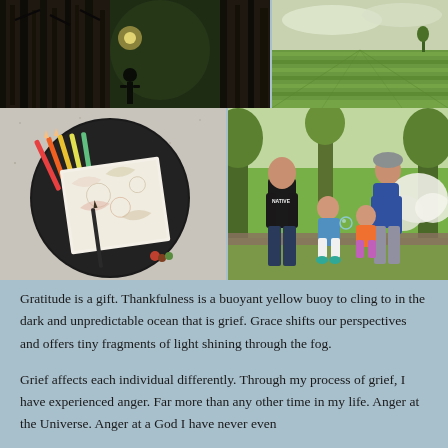[Figure (photo): Collage of four photographs: top-left shows a dark nighttime/dusk scene with bare trees and a silhouette figure; top-right shows a green field under an overcast sky; bottom-left shows a coloring book and colored pencils on a round black plate on a granite surface; bottom-right shows two men with two small children sitting outdoors near white flowers and trees.]
Gratitude is a gift.  Thankfulness is a buoyant yellow buoy to cling to in the dark and unpredictable ocean that is grief.  Grace shifts our perspectives and offers tiny fragments of light shining through the fog.
Grief affects each individual differently.  Through my process of grief, I have experienced anger.  Far more than any other time in my life.  Anger at the Universe.  Anger at a God I have never even